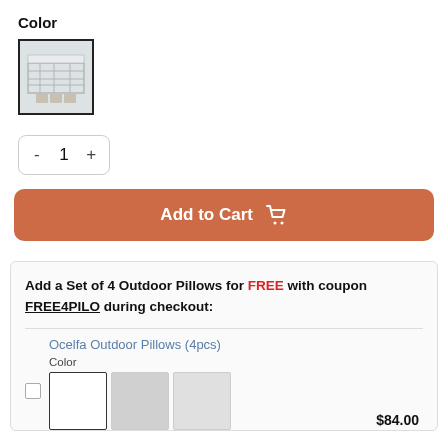Color
[Figure (photo): Thumbnail image of outdoor furniture set, selected color swatch with black border]
- 1 +
Add to Cart 🛒
Add a Set of 4 Outdoor Pillows for FREE with coupon FREE4PILO during checkout:
Ocelfa Outdoor Pillows (4pcs)
Color
$84.00